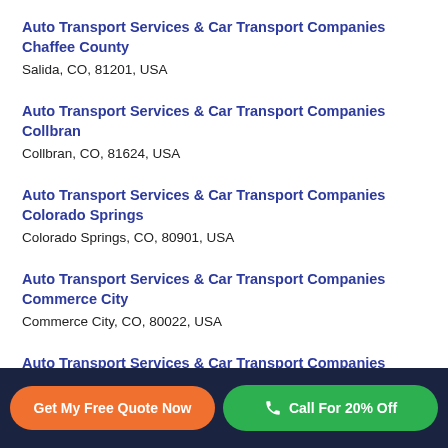Auto Transport Services & Car Transport Companies Chaffee County
Salida, CO, 81201, USA
Auto Transport Services & Car Transport Companies Collbran
Collbran, CO, 81624, USA
Auto Transport Services & Car Transport Companies Colorado Springs
Colorado Springs, CO, 80901, USA
Auto Transport Services & Car Transport Companies Commerce City
Commerce City, CO, 80022, USA
Auto Transport Services & Car Transport Companies Craig
Craig, CO, 81625, USA
Get My Free Quote Now | Call For 20% Off